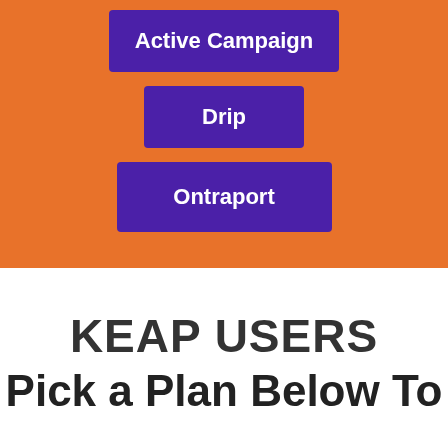[Figure (infographic): Orange background section with three purple call-to-action buttons labeled 'Active Campaign', 'Drip', and 'Ontraport' arranged vertically and centered.]
KEAP USERS
Pick a Plan Below To